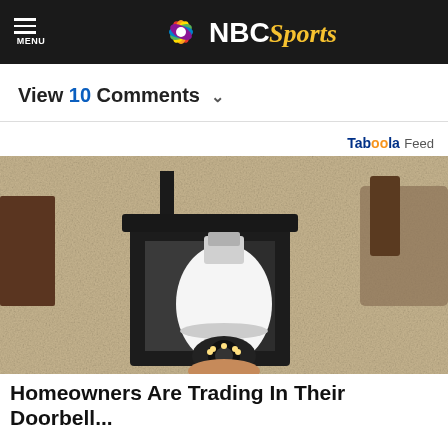MENU | NBC Sports
View 10 Comments
Taboola Feed
[Figure (photo): A smart security camera bulb installed in an outdoor wall lantern fixture, held by a hand, mounted on a textured stucco wall.]
Homeowners Are Trading In Their Doorbell...